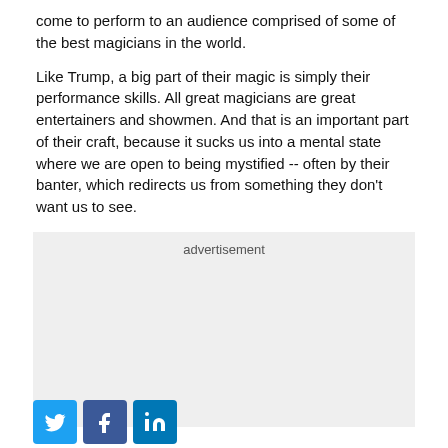come to perform to an audience comprised of some of the best magicians in the world.
Like Trump, a big part of their magic is simply their performance skills. All great magicians are great entertainers and showmen. And that is an important part of their craft, because it sucks us into a mental state where we are open to being mystified -- often by their banter, which redirects us from something they don't want us to see.
[Figure (other): Advertisement placeholder box with light gray background]
[Figure (infographic): Social media share buttons: Twitter (blue bird icon), Facebook (blue f icon), LinkedIn (blue in icon)]